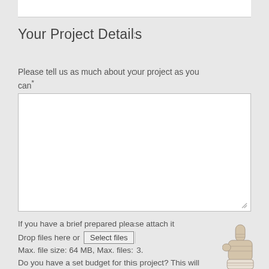Your Project Details
Please tell us as much about your project as you can*
[Figure (other): Empty textarea input box with resize handle in bottom-right corner]
If you have a brief prepared please attach it
Drop files here or [Select files]
Max. file size: 64 MB, Max. files: 3.
Do you have a set budget for this project? This will
[Figure (illustration): Hand pointing finger illustration in bottom-right corner]